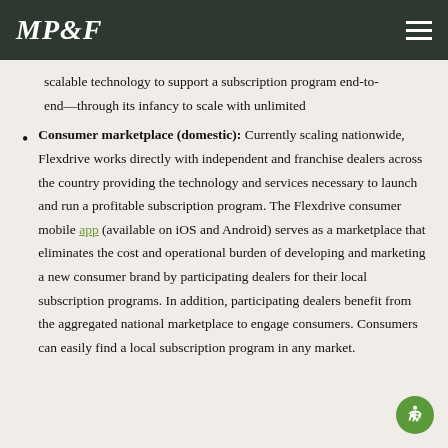MP&F
scalable technology to support a subscription program end-to-end—through its infancy to scale with unlimited
Consumer marketplace (domestic): Currently scaling nationwide, Flexdrive works directly with independent and franchise dealers across the country providing the technology and services necessary to launch and run a profitable subscription program. The Flexdrive consumer mobile app (available on iOS and Android) serves as a marketplace that eliminates the cost and operational burden of developing and marketing a new consumer brand by participating dealers for their local subscription programs. In addition, participating dealers benefit from the aggregated national marketplace to engage consumers. Consumers can easily find a local subscription program in any market.